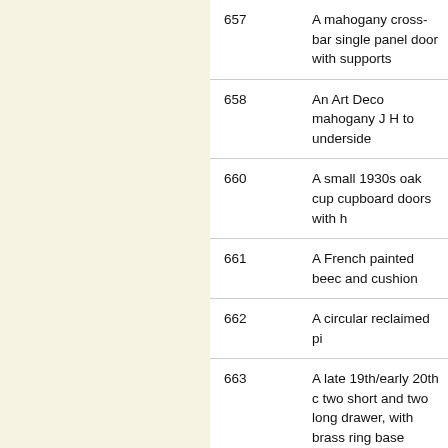| Lot | Description |
| --- | --- |
| 657 | A mahogany cross-bar single panel door with supports |
| 658 | An Art Deco mahogany J H to underside |
| 660 | A small 1930s oak cupboard doors with h |
| 661 | A French painted beech and cushion |
| 662 | A circular reclaimed pi |
| 663 | A late 19th/early 20th c two short and two long drawer, with brass ring base |
| 664 | An early 20th century m |
| 665 | A Victorian ch |